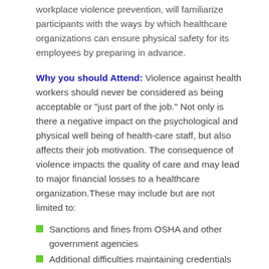workplace violence prevention, will familiarize participants with the ways by which healthcare organizations can ensure physical safety for its employees by preparing in advance.
Why you should Attend: Violence against health workers should never be considered as being acceptable or "just part of the job." Not only is there a negative impact on the psychological and physical well being of health-care staff, but also affects their job motivation. The consequence of violence impacts the quality of care and may lead to major financial losses to a healthcare organization.These may include but are not limited to:
Sanctions and fines from OSHA and other government agencies
Additional difficulties maintaining credentials for the Joint Commission and other credentialing groups
increased difficulties hiring and keeping employees